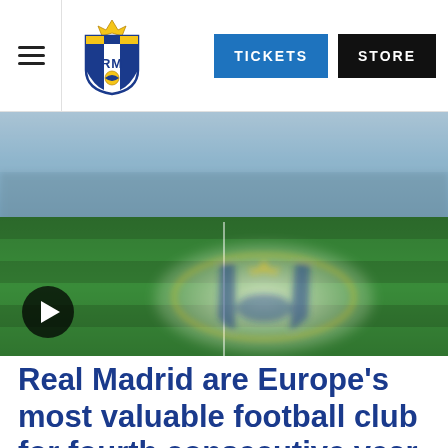TICKETS   STORE
[Figure (photo): Real Madrid Bernabéu stadium pitch with Real Madrid crest painted at center, aerial forward-facing view, with blurred sky and stands in background. A play button overlay appears at bottom left.]
Real Madrid are Europe's most valuable football club for fourth consecutive year